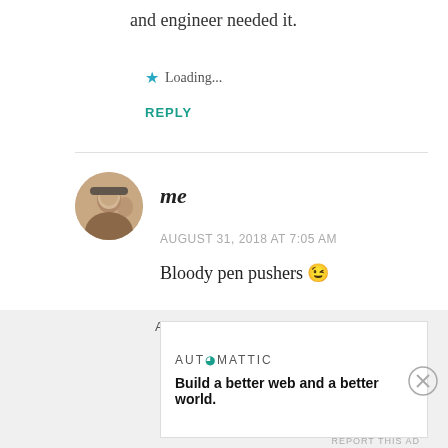and engineer needed it.
★ Loading...
REPLY
me
AUGUST 31, 2018 AT 7:05 AM
Bloody pen pushers 😉
★ Loading...
Advertisements
AUTOMATTIC
Build a better web and a better world.